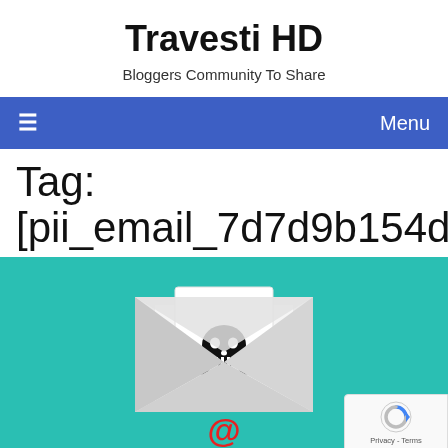Travesti HD
Bloggers Community To Share
≡  Menu
Tag: [pii_email_7d7d9b154d9cc9eb57
[Figure (illustration): An email envelope illustration on a teal background. The envelope is open with a white card showing a skull and crossbones icon, and the envelope flap shows an @ symbol in red.]